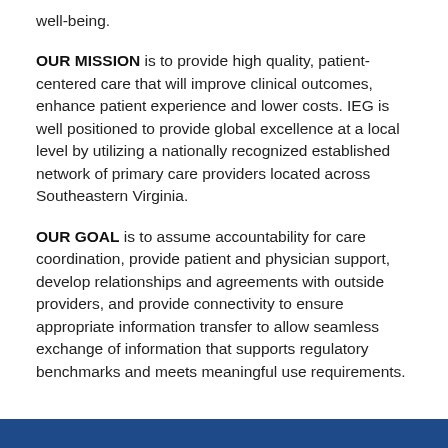well-being.
OUR MISSION is to provide high quality, patient-centered care that will improve clinical outcomes, enhance patient experience and lower costs. IEG is well positioned to provide global excellence at a local level by utilizing a nationally recognized established network of primary care providers located across Southeastern Virginia.
OUR GOAL is to assume accountability for care coordination, provide patient and physician support, develop relationships and agreements with outside providers, and provide connectivity to ensure appropriate information transfer to allow seamless exchange of information that supports regulatory benchmarks and meets meaningful use requirements.
Our Services